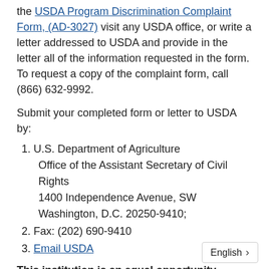the USDA Program Discrimination Complaint Form, (AD-3027) visit any USDA office, or write a letter addressed to USDA and provide in the letter all of the information requested in the form. To request a copy of the complaint form, call (866) 632-9992.
Submit your completed form or letter to USDA by:
U.S. Department of Agriculture
Office of the Assistant Secretary of Civil Rights
1400 Independence Avenue, SW
Washington, D.C. 20250-9410;
Fax: (202) 690-9410
Email USDA
This institution is an equal opportunity provider.
ODE Civil Rights Complaint Form
CONTACT US
English